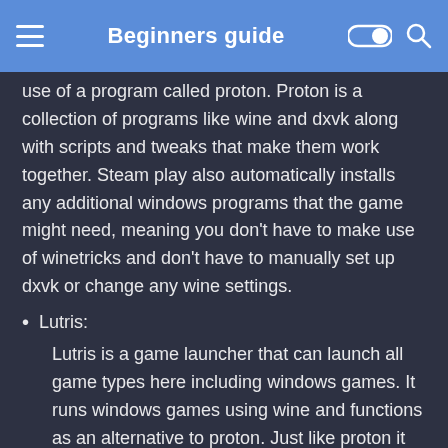Beginners guide
use of a program called proton. Proton is a collection of programs like wine and dxvk along with scripts and tweaks that make them work together. Steam play also automatically installs any additional windows programs that the game might need, meaning you don't have to make use of winetricks and don't have to manually set up dxvk or change any wine settings.
Lutris: Lutris is a game launcher that can launch all game types here including windows games. It runs windows games using wine and functions as an alternative to proton. Just like proton it also sets up wine, dxvk and nvapi automatically. It also has a database of games along with user submitted installers for them. Lutris allows for much more